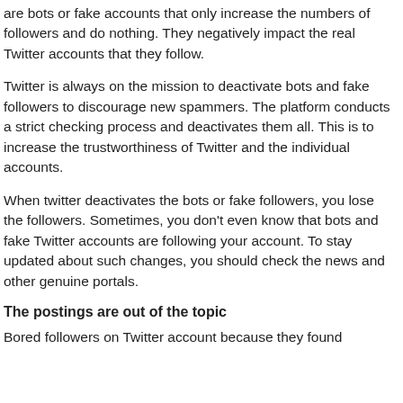are bots or fake accounts that only increase the numbers of followers and do nothing. They negatively impact the real Twitter accounts that they follow.
Twitter is always on the mission to deactivate bots and fake followers to discourage new spammers. The platform conducts a strict checking process and deactivates them all. This is to increase the trustworthiness of Twitter and the individual accounts.
When twitter deactivates the bots or fake followers, you lose the followers. Sometimes, you don't even know that bots and fake Twitter accounts are following your account. To stay updated about such changes, you should check the news and other genuine portals.
The postings are out of the topic
Bored followers on Twitter account because they found